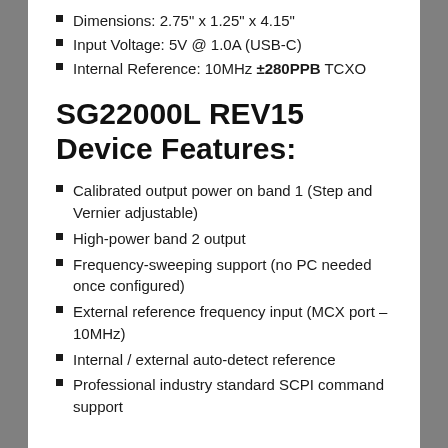Dimensions: 2.75" x 1.25" x 4.15"
Input Voltage: 5V @ 1.0A (USB-C)
Internal Reference: 10MHz ±280PPB TCXO
SG22000L REV15 Device Features:
Calibrated output power on band 1 (Step and Vernier adjustable)
High-power band 2 output
Frequency-sweeping support (no PC needed once configured)
External reference frequency input (MCX port – 10MHz)
Internal / external auto-detect reference
Professional industry standard SCPI command support